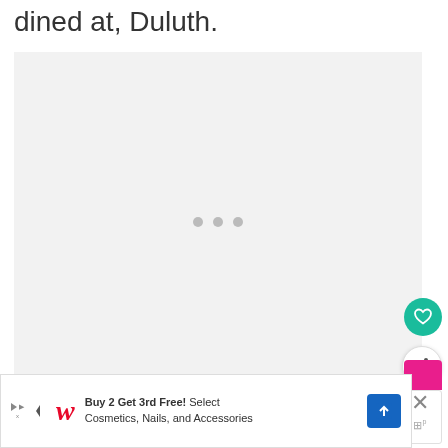dined at, Duluth.
[Figure (other): Loading placeholder image area with three dots indicating content is loading]
[Figure (other): What's Next panel showing thumbnail and text 'Day Date with Mr. M in...' with teal arrow label]
[Figure (other): Advertisement bar: Walgreens Buy 2 Get 3rd Free! Select Cosmetics, Nails, and Accessories with close button]